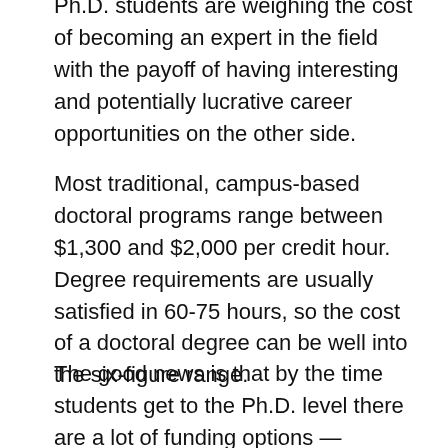Ph.D. students are weighing the cost of becoming an expert in the field with the payoff of having interesting and potentially lucrative career opportunities on the other side.
Most traditional, campus-based doctoral programs range between $1,300 and $2,000 per credit hour. Degree requirements are usually satisfied in 60-75 hours, so the cost of a doctoral degree can be well into the six-figure range.
The good news is that by the time students get to the Ph.D. level there are a lot of funding options — including some graduate programs that are completely funded by the university or academic department, and additional funding options beyond that.